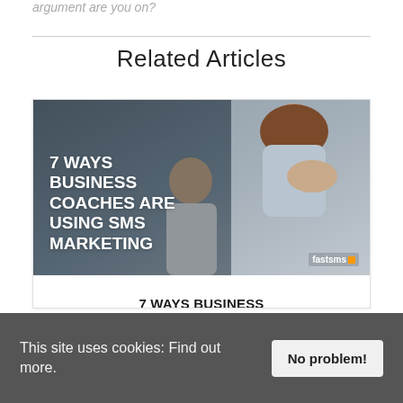argument are you on?
Related Articles
[Figure (photo): Article thumbnail image showing two people in a business coaching session, with bold white text overlay reading '7 WAYS BUSINESS COACHES ARE USING SMS MARKETING' and the fastsms logo in the bottom right corner.]
7 WAYS BUSINESS COACHES ARE USING SMS MARKETING
This site uses cookies: Find out more.
No problem!